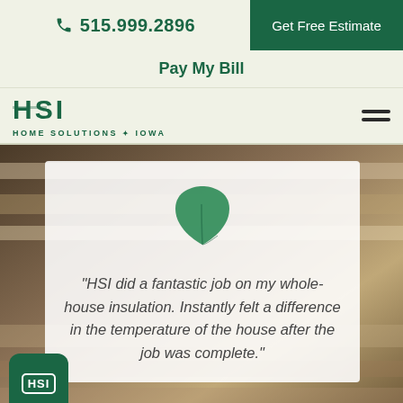515.999.2896  Get Free Estimate
Pay My Bill
[Figure (logo): HSI Home Solutions of Iowa logo with green text and hamburger menu icon]
[Figure (photo): Background photo of insulation material, blurred, warm beige/brown tones]
[Figure (illustration): Green leaf icon centered on white card overlay]
“HSI did a fantastic job on my whole-house insulation. Instantly felt a difference in the temperature of the house after the job was complete.”
[Figure (logo): HSI chat bubble icon in bottom left corner, dark green rounded square with HSI text and speech bubble tail]